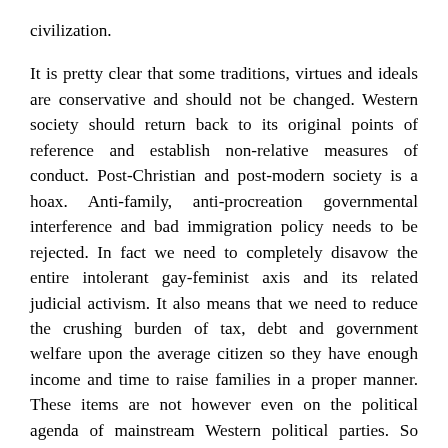civilization.

It is pretty clear that some traditions, virtues and ideals are conservative and should not be changed. Western society should return back to its original points of reference and establish non-relative measures of conduct. Post-Christian and post-modern society is a hoax. Anti-family, anti-procreation governmental interference and bad immigration policy needs to be rejected. In fact we need to completely disavow the entire intolerant gay-feminist axis and its related judicial activism. It also means that we need to reduce the crushing burden of tax, debt and government welfare upon the average citizen so they have enough income and time to raise families in a proper manner. These items are not however even on the political agenda of mainstream Western political parties. So farcical and dangerous policies will continue to gro